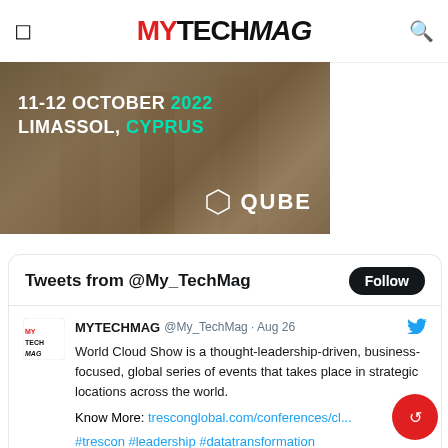MyTechMag
[Figure (illustration): Banner image: 11-12 October 2022, Limassol, Cyprus – QUBE conference promo with stone ruins background]
Tweets from @My_TechMag
MYTECHMAG @My_TechMag · Aug 26
World Cloud Show is a thought-leadership-driven, business-focused, global series of events that takes place in strategic locations across the world.

Know More: tresconglobal.com/conferences/cl...

#trescon #leadership #datatransformation #cloud #devops #events #business #MYTECHMAG